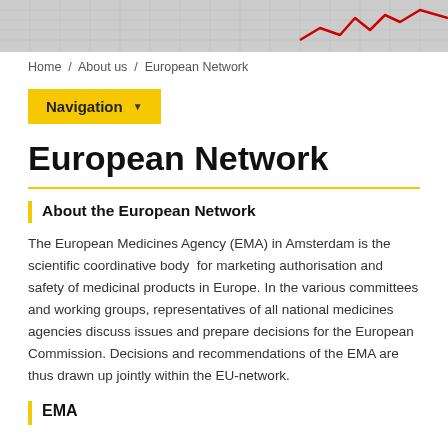[Figure (photo): Decorative header image with graph/chart paper and red line graph visible in upper right corner]
Home / About us / European Network
[Figure (other): Yellow Navigation dropdown button]
European Network
About the European Network
The European Medicines Agency (EMA) in Amsterdam is the scientific coordinative body  for marketing authorisation and safety of medicinal products in Europe. In the various committees and working groups, representatives of all national medicines agencies discuss issues and prepare decisions for the European Commission. Decisions and recommendations of the EMA are thus drawn up jointly within the EU-network.
EMA